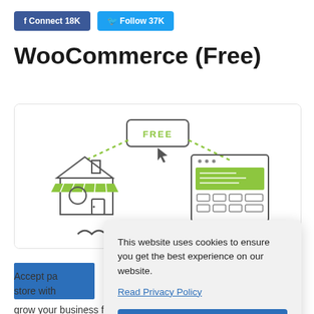f Connect 18K   Follow 37K
WooCommerce (Free)
[Figure (illustration): Illustration showing a physical store on the left and an online store/POS terminal on the right, connected by dotted lines through a 'FREE' speech bubble in the center with a cursor pointer icon.]
Accept pa... store with...
grow your business faster, having the capability to
This website uses cookies to ensure you get the best experience on our website.
Read Privacy Policy
Got it!